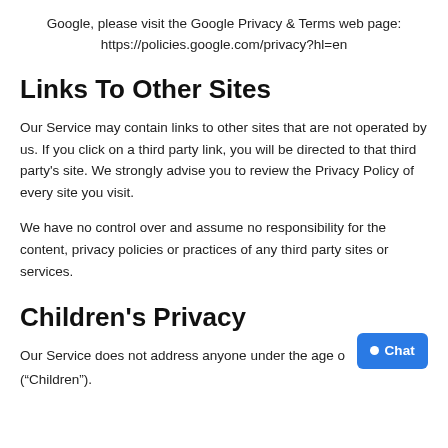Google, please visit the Google Privacy & Terms web page: https://policies.google.com/privacy?hl=en
Links To Other Sites
Our Service may contain links to other sites that are not operated by us. If you click on a third party link, you will be directed to that third party's site. We strongly advise you to review the Privacy Policy of every site you visit.
We have no control over and assume no responsibility for the content, privacy policies or practices of any third party sites or services.
Children's Privacy
Our Service does not address anyone under the age of ("Children").